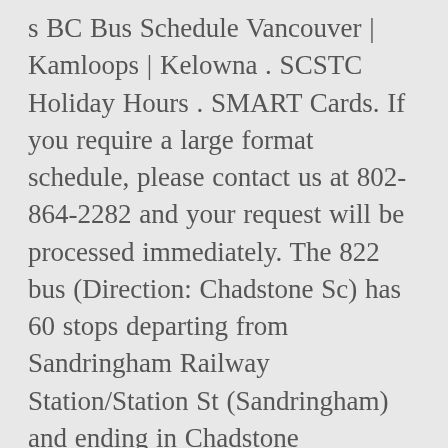s BC Bus Schedule Vancouver | Kamloops | Kelowna . SCSTC Holiday Hours . SMART Cards. If you require a large format schedule, please contact us at 802-864-2282 and your request will be processed immediately. The 822 bus (Direction: Chadstone Sc) has 60 stops departing from Sandringham Railway Station/Station St (Sandringham) and ending in Chadstone Sc/Eastern Access Rd (Malvern East). (a) = arrival time (d) = departure time. Schedules are subject to change. Child traveling solo? (a) = arrival time (d) = departure time. Details On What The COMET Is Doing To Combat COVID-19 Is Available In What's New! The COMET is a new transit system with new energy and new leadership. Note: The Korah